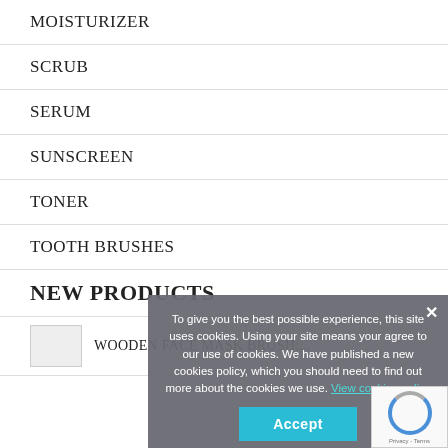MOISTURIZER
SCRUB
SERUM
SUNSCREEN
TONER
TOOTH BRUSHES
NEW PRODUCTS
WOODEN FACE MASK BRUSH:...
To give you the best possible experience, this site uses cookies. Using your site means your agree to our use of cookies. We have published a new cookies policy, which you should need to find out more about the cookies we use. View cookies policy
Accept